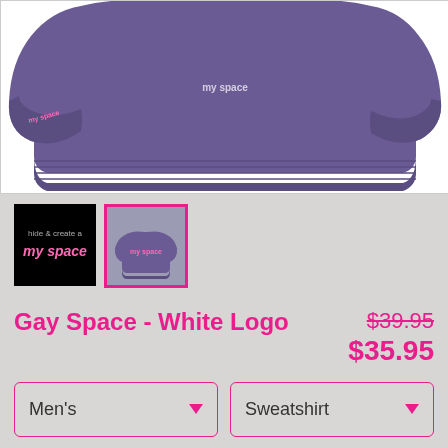[Figure (photo): Purple sweatshirt product photo showing the bottom half of a crew-neck sweatshirt on a white background]
[Figure (photo): Two product thumbnails: first is a black background with pink 'my space' logo text, second is the purple sweatshirt view with pink border indicating it is selected]
Gay Space - White Logo
$39.95 $35.95
Men's (dropdown) Sweatshirt (dropdown)
SELECT YOUR FIT